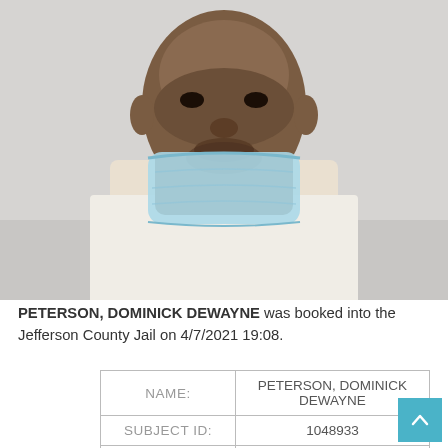[Figure (photo): Mugshot photo of a Black male wearing a white shirt and a light blue face mask pulled down below his nose, photographed from roughly neck-up against a gray background.]
PETERSON, DOMINICK DEWAYNE was booked into the Jefferson County Jail on 4/7/2021 19:08.
|  |  |
| --- | --- |
| NAME: | PETERSON, DOMINICK DEWAYNE |
| SUBJECT ID: | 1048933 |
| DOB: | 6/28/1976 |
| AGE: | 44 |
| GENDER: | Male |